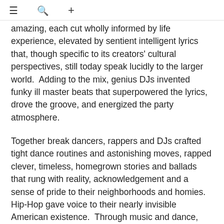≡  🔍  +
amazing, each cut wholly informed by life experience, elevated by sentient intelligent lyrics that, though specific to its creators' cultural perspectives, still today speak lucidly to the larger world.  Adding to the mix, genius DJs invented funky ill master beats that superpowered the lyrics, drove the groove, and energized the party atmosphere.
Together break dancers, rappers and DJs crafted tight dance routines and astonishing moves, rapped clever, timeless, homegrown stories and ballads that rung with reality, acknowledgement and a sense of pride to their neighborhoods and homies.  Hip-Hop gave voice to their nearly invisible American existence.  Through music and dance, they would wage war on each other and the rest of the world.  There was competition in the performances and lyrical challenges and battles of the